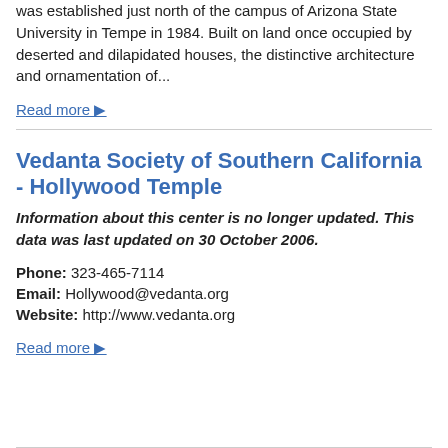was established just north of the campus of Arizona State University in Tempe in 1984. Built on land once occupied by deserted and dilapidated houses, the distinctive architecture and ornamentation of...
Read more ▶
Vedanta Society of Southern California - Hollywood Temple
Information about this center is no longer updated. This data was last updated on 30 October 2006.
Phone: 323-465-7114
Email: Hollywood@vedanta.org
Website: http://www.vedanta.org
Read more ▶